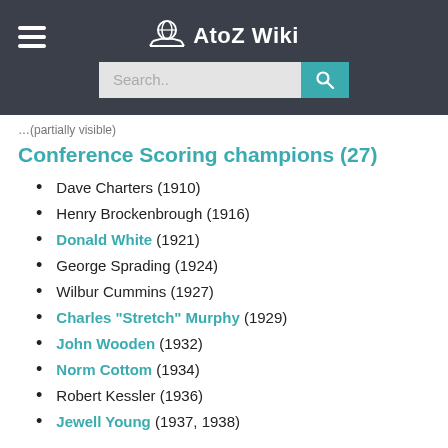AtoZ Wiki — Search bar
Conference Scoring champions (27)
Dave Charters (1910)
Henry Brockenbrough (1916)
Donald White (1921)
George Sprading (1924)
Wilbur Cummins (1927)
Charles "Stretch" Murphy (1929)
John Wooden (1932)
Norm Cottom (1934)
Robert Kessler (1936)
Jewell Young (1937, 1938)